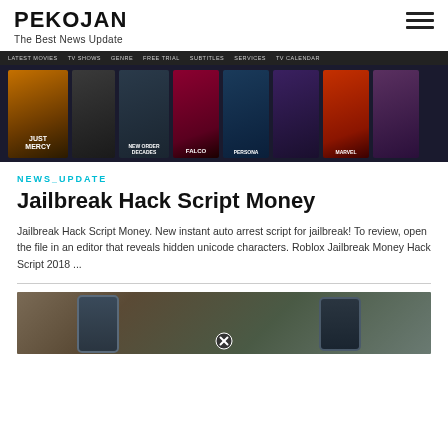PEKOJAN
The Best News Update
[Figure (screenshot): Screenshot of a movie streaming website showing multiple movie posters including 'Just Mercy' and others on a dark background navigation bar]
NEWS_UPDATE
Jailbreak Hack Script Money
Jailbreak Hack Script Money. New instant auto arrest script for jailbreak! To review, open the file in an editor that reveals hidden unicode characters. Roblox Jailbreak Money Hack Script 2018 ...
[Figure (photo): Photo of two smartphones (likely iPhone) placed on a natural/outdoor background with twigs and leaves, with a close button overlay]